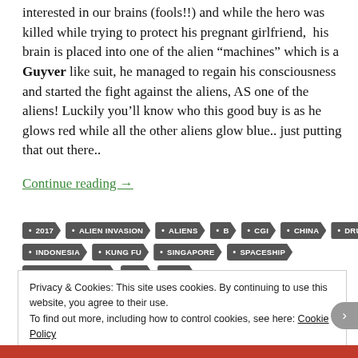interested in our brains (fools!!) and while the hero was killed while trying to protect his pregnant girlfriend, his brain is placed into one of the alien “machines” which is a Guyver like suit, he managed to regain his consciousness and started the fight against the aliens, AS one of the aliens! Luckily you’ll know who this good buy is as he glows red while all the other aliens glow blue.. just putting that out there..
Continue reading →
2017
ALIEN INVASION
ALIENS
B
CGI
CHINA
DRUGS
INDONESIA
KUNG FU
SINGAPORE
SPACESHIP
SPECIAL EFFECTS
UK
USA
Privacy & Cookies: This site uses cookies. By continuing to use this website, you agree to their use. To find out more, including how to control cookies, see here: Cookie Policy
Close and accept